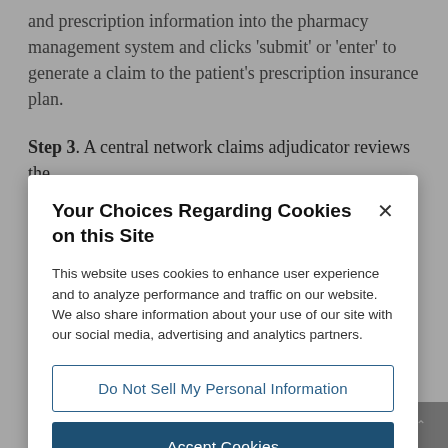and prescription information into the pharmacy management system and clicks 'submit' or 'enter' to generate a claim to the patient's prescription insurance plan.
Step 3. A central network claims adjudicator reviews the
Your Choices Regarding Cookies on this Site
This website uses cookies to enhance user experience and to analyze performance and traffic on our website. We also share information about your use of our site with our social media, advertising and analytics partners.
Do Not Sell My Personal Information
Accept Cookies